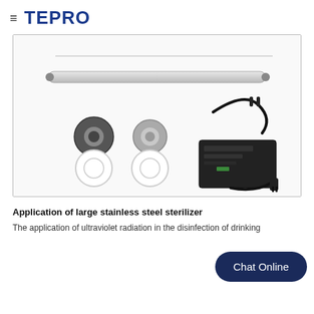TEPRO
[Figure (photo): Product kit photo showing a UV sterilizer tube, mounting hardware (rubber gasket, metal connector, white plastic rings), and a black power supply/ballast unit with cable and plug, all displayed on white background inside a bordered box.]
Application of large stainless steel sterilizer
The application of ultraviolet radiation in the disinfection of drinking